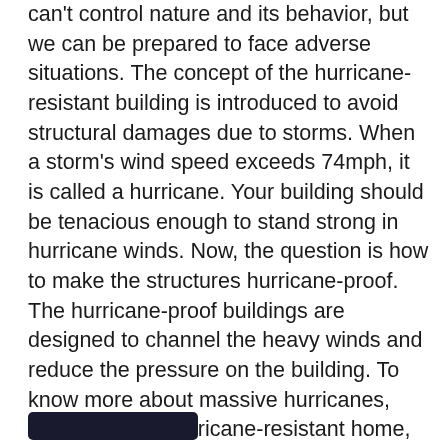can't control nature and its behavior, but we can be prepared to face adverse situations. The concept of the hurricane-resistant building is introduced to avoid structural damages due to storms. When a storm's wind speed exceeds 74mph, it is called a hurricane. Your building should be tenacious enough to stand strong in hurricane winds. Now, the question is how to make the structures hurricane-proof. The hurricane-proof buildings are designed to channel the heavy winds and reduce the pressure on the building. To know more about massive hurricanes, how to build a hurricane-resistant home, and more useful insights, view our knowledgeful infographic.